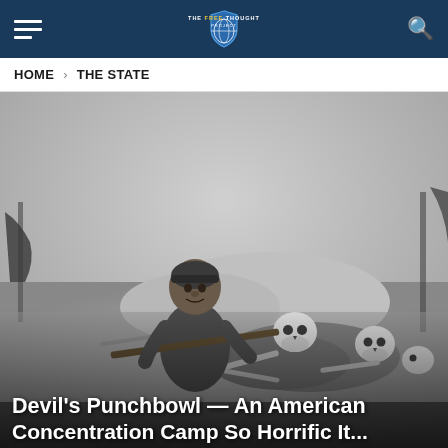THE FREE THOUGHT PROJECT
HOME > THE STATE
[Figure (photo): Black and white historical photograph of a young Black man sitting outdoors holding a rifle, with skeletal human remains with skulls visible beside him in the field.]
Devil's Punchbowl — An American Concentration Camp So Horrific It...